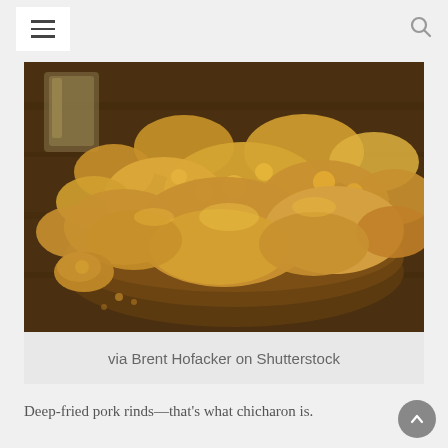Navigation bar with hamburger menu and search icon
[Figure (photo): A bowl of deep-fried pork rinds (chicharon) on a wooden table, with a glass visible in the background. The pork rinds are golden-brown and puffy.]
via Brent Hofacker on Shutterstock
Deep-fried pork rinds—that's what chicharon is.